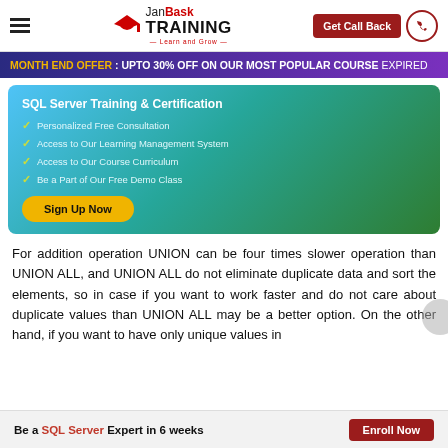JanBask TRAINING - Learn and Grow | Get Call Back
MONTH END OFFER : UPTO 30% OFF ON OUR MOST POPULAR COURSE EXPIRED
[Figure (infographic): SQL Server Training & Certification promotional card with gradient blue-green background, listing: Personalized Free Consultation, Access to Our Learning Management System, Access to Our Course Curriculum, Be a Part of Our Free Demo Class, with a yellow Sign Up Now button]
For addition operation UNION can be four times slower operation than UNION ALL, and UNION ALL do not eliminate duplicate data and sort the elements, so in case if you want to work faster and do not care about duplicate values than UNION ALL may be a better option. On the other hand, if you want to have only unique values in
Be a SQL Server Expert in 6 weeks   Enroll Now